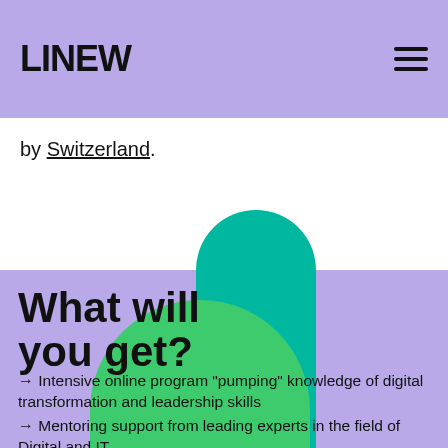LINEW
by Switzerland.
What will you get?
→ Intensive online program "pumping" knowledge of digital transformation and leadership skills
→ Mentoring support from leading experts in the field of Digital and IT
→ Creating a plan for developing your